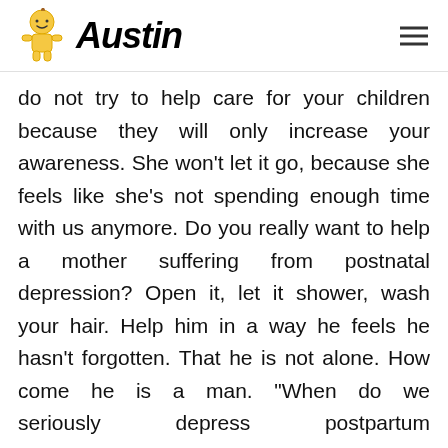Austin
do not try to help care for your children because they will only increase your awareness. She won't let it go, because she feels like she's not spending enough time with us anymore. Do you really want to help a mother suffering from postnatal depression? Open it, let it shower, wash your hair. Help him in a way he feels he hasn't forgotten. That he is not alone. How come he is a man. "When do we seriously depress postpartum depression? And why not talk about it
[Figure (infographic): Advertisement for Walgreens Brand with Walgreens logo (red cursive W), text 'Save With Walgreens Brand' and 'Walgreens Photo' in blue, and a blue navigation/map icon on the right. Close button (x) in top right corner.]